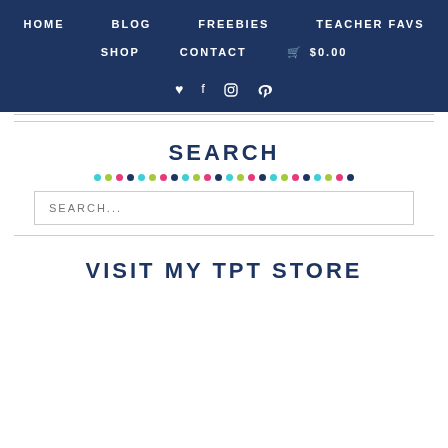HOME  BLOG  FREEBIES  TEACHER FAVS  SHOP  CONTACT  $0.00
SEARCH
[Figure (infographic): Colorful dots row decoration: repeating cyan, green, pink, navy dots]
SEARCH...
VISIT MY TPT STORE